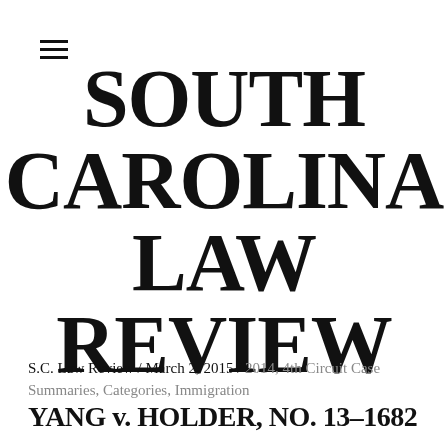≡
SOUTH CAROLINA LAW REVIEW
S.C. Law Review / March 2, 2015 / 2014, 4th Circuit Case Summaries, Categories, Immigration
YANG v. HOLDER, NO. 13–1682